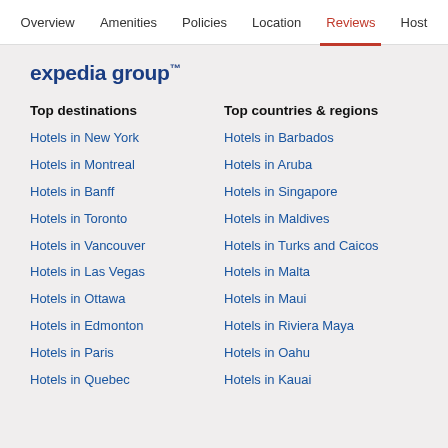Overview  Amenities  Policies  Location  Reviews  Host
expedia group
Top destinations
Top countries & regions
Hotels in New York
Hotels in Barbados
Hotels in Montreal
Hotels in Aruba
Hotels in Banff
Hotels in Singapore
Hotels in Toronto
Hotels in Maldives
Hotels in Vancouver
Hotels in Turks and Caicos
Hotels in Las Vegas
Hotels in Malta
Hotels in Ottawa
Hotels in Maui
Hotels in Edmonton
Hotels in Riviera Maya
Hotels in Paris
Hotels in Oahu
Hotels in Quebec
Hotels in Kauai